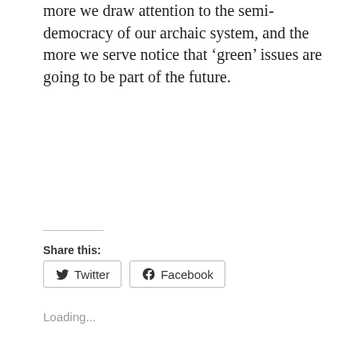more we draw attention to the semi-democracy of our archaic system, and the more we serve notice that ‘green’ issues are going to be part of the future.
Share this:
Twitter   Facebook
Loading...
RELATED
Rescuing the Future | The January 6 hearings limp on | why
Rescuing the Future | Politics and Social Democracy | Tony